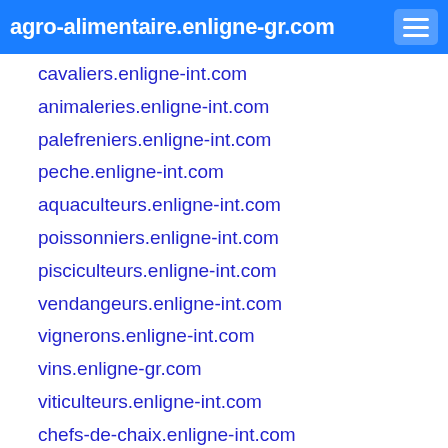agro-alimentaire.enligne-gr.com
cavaliers.enligne-int.com
animaleries.enligne-int.com
palefreniers.enligne-int.com
peche.enligne-int.com
aquaculteurs.enligne-int.com
poissonniers.enligne-int.com
pisciculteurs.enligne-int.com
vendangeurs.enligne-int.com
vignerons.enligne-int.com
vins.enligne-gr.com
viticulteurs.enligne-int.com
chefs-de-chaix.enligne-int.com
chefs-de-culture.enligne-int.com